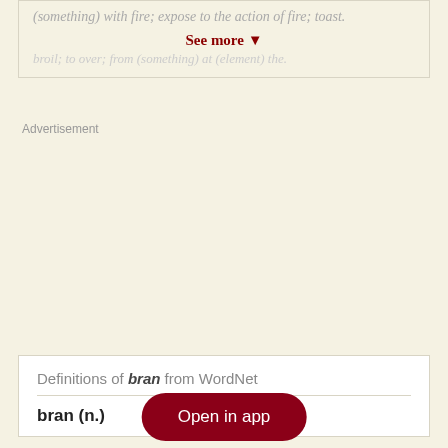(something) with fire; expose to the action of fire; toast.
See more ▾
(second line blurred/faded text)
Advertisement
Definitions of bran from WordNet
bran (n.)